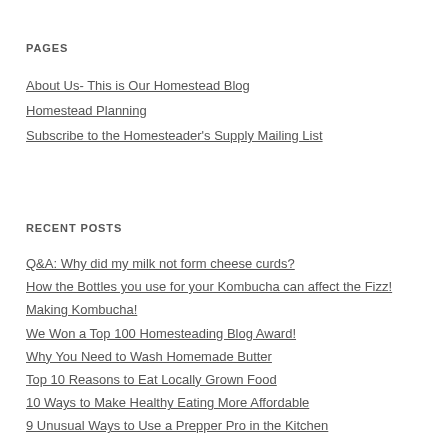PAGES
About Us- This is Our Homestead Blog
Homestead Planning
Subscribe to the Homesteader's Supply Mailing List
RECENT POSTS
Q&A: Why did my milk not form cheese curds?
How the Bottles you use for your Kombucha can affect the Fizz!
Making Kombucha!
We Won a Top 100 Homesteading Blog Award!
Why You Need to Wash Homemade Butter
Top 10 Reasons to Eat Locally Grown Food
10 Ways to Make Healthy Eating More Affordable
9 Unusual Ways to Use a Prepper Pro in the Kitchen